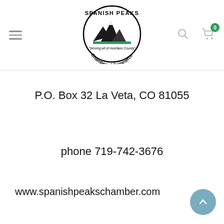[Figure (logo): Spanish Peaks Chamber of Commerce logo inside oval border with mountain illustration and tagline 'Serving all of Huerfano County']
P.O. Box 32 La Veta, CO 81055
phone 719-742-3676
www.spanishpeakschamber.com